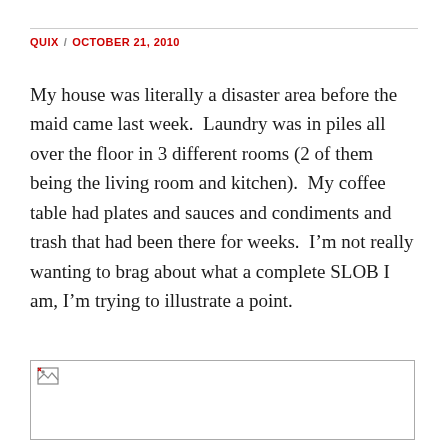QUIX / OCTOBER 21, 2010
My house was literally a disaster area before the maid came last week.  Laundry was in piles all over the floor in 3 different rooms (2 of them being the living room and kitchen).  My coffee table had plates and sauces and condiments and trash that had been there for weeks.  I’m not really wanting to brag about what a complete SLOB I am, I’m trying to illustrate a point.
[Figure (photo): Broken/missing image placeholder with a small broken image icon in the top-left corner]